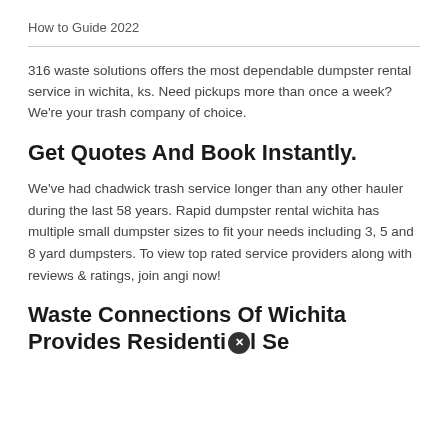How to Guide 2022
316 waste solutions offers the most dependable dumpster rental service in wichita, ks. Need pickups more than once a week? We're your trash company of choice.
Get Quotes And Book Instantly.
We've had chadwick trash service longer than any other hauler during the last 58 years. Rapid dumpster rental wichita has multiple small dumpster sizes to fit your needs including 3, 5 and 8 yard dumpsters. To view top rated service providers along with reviews & ratings, join angi now!
Waste Connections Of Wichita Provides Residential Se...